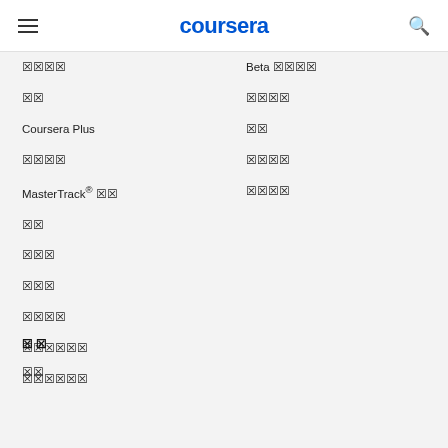coursera
□□□□
Beta □□□□
□□
□□□□
Coursera Plus
□□
□□□□
□□□□
MasterTrack® □□
□□□□
□□
□□□
□□□
□□□□
□□□□□□
□□□□□□
□ □
□□